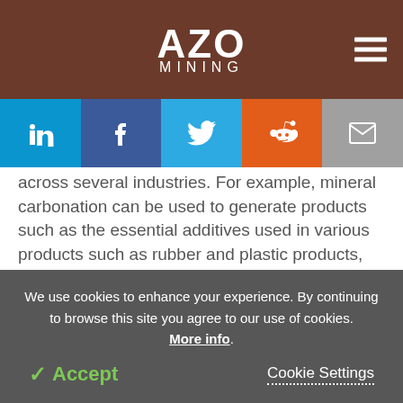AZO MINING
[Figure (infographic): Social sharing bar with LinkedIn, Facebook, Twitter, Reddit, and Email buttons]
across several industries. For example, mineral carbonation can be used to generate products such as the essential additives used in various products such as rubber and plastic products, paints, inks, and fire retardants.
They are also vital to water-absorbing applications
We use cookies to enhance your experience. By continuing to browse this site you agree to our use of cookies. More info.
✓ Accept   Cookie Settings